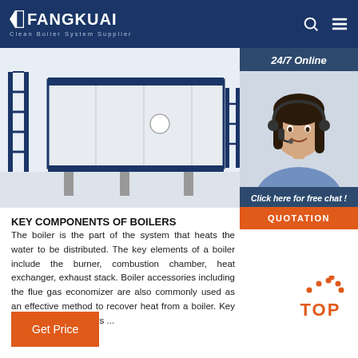FANGKUAI Clean Boiler System Supplier
[Figure (photo): Industrial boiler unit, white and blue rectangular container structure with blue scaffolding]
[Figure (photo): 24/7 Online customer support agent - woman wearing headset, smiling, with '24/7 Online' label and 'Click here for free chat!' and 'QUOTATION' button]
KEY COMPONENTS OF BOILERS
The boiler is the part of the system that heats the water to be distributed. The key elements of a boiler include the burner, combustion chamber, heat exchanger, exhaust stack. Boiler accessories including the flue gas economizer are also commonly used as an effective method to recover heat from a boiler. Key Components of Boilers ...
[Figure (other): TOP button with orange dots and text]
Get Price